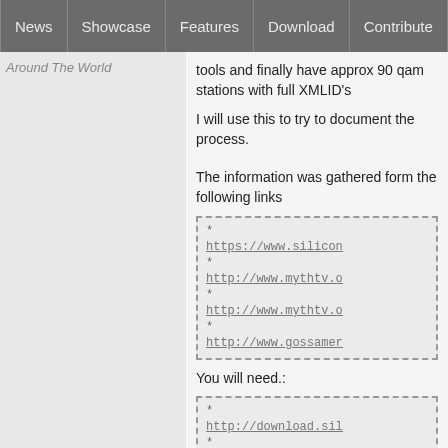News | Showcase | Features | Download | Contribute | Support
Around The World
tools and finally have approx 90 qam stations with full XMLID's
I will use this to try to document the process.
The information was gathered form the following links
* https://www.silicon
* http://www.mythtv.o
* http://www.mythtv.o
* http://www.gossamer
You will need.:
* http://download.sil
* http://scte65scan.s
Download and extract: